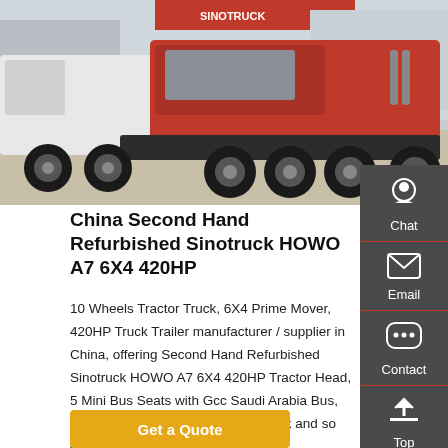[Figure (photo): Photograph of Sinotruck HOWO A7 trucks in a lot, red and white heavy trucks, outdoor setting with SINOTRUCK signage visible in background]
China Second Hand Refurbished Sinotruck HOWO A7 6X4 420HP
10 Wheels Tractor Truck, 6X4 Prime Mover, 420HP Truck Trailer manufacturer / supplier in China, offering Second Hand Refurbished Sinotruck HOWO A7 6X4 420HP Tractor Head, 5 Mini Bus Seats with Gcc Saudi Arabia Bus, Brand New Car with Van in The Back and so on.
Get a Quote